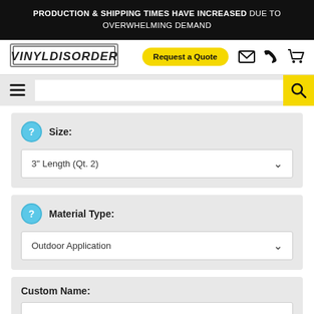PRODUCTION & SHIPPING TIMES HAVE INCREASED DUE TO OVERWHELMING DEMAND
[Figure (logo): VinylDisorder logo in stylized block text with border]
Request a Quote
Size: 3" Length (Qt. 2)
Material Type: Outdoor Application
Custom Name: